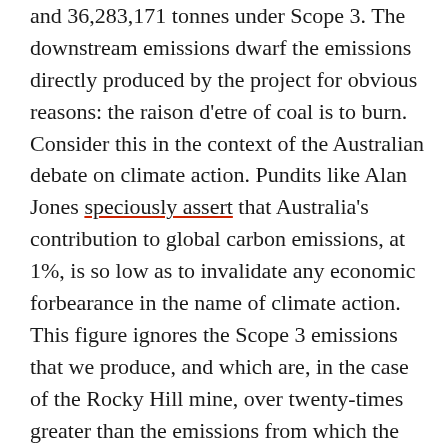and 36,283,171 tonnes under Scope 3. The downstream emissions dwarf the emissions directly produced by the project for obvious reasons: the raison d'etre of coal is to burn. Consider this in the context of the Australian debate on climate action. Pundits like Alan Jones speciously assert that Australia's contribution to global carbon emissions, at 1%, is so low as to invalidate any economic forbearance in the name of climate action. This figure ignores the Scope 3 emissions that we produce, and which are, in the case of the Rocky Hill mine, over twenty-times greater than the emissions from which the figure is calculated. Our laws perpetuate this dishonest miscalculation, with the National Greenhouse and Energy Reporting Act 2007 mandating the reporting of only Scope 1 and 2 emissions, without regard to